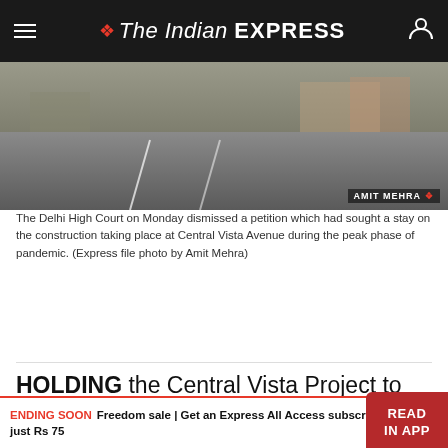The Indian EXPRESS
[Figure (photo): Street-level photo of Central Vista Avenue construction site, with vehicles and workers visible. Photo credit: AMIT MEHRA]
The Delhi High Court on Monday dismissed a petition which had sought a stay on the construction taking place at Central Vista Avenue during the peak phase of pandemic. (Express file photo by Amit Mehra)
HOLDING the Central Vista Project to be of national importance, the Delhi High Court Monday dismissed a petition which had sought a stay on construction on it in the midst of a pandemic, calling it “motivated” and imposing on the petitioners a cost of Rs 1 lakh.
ENDING SOON Freedom sale | Get an Express All Access subscription at just Rs 75